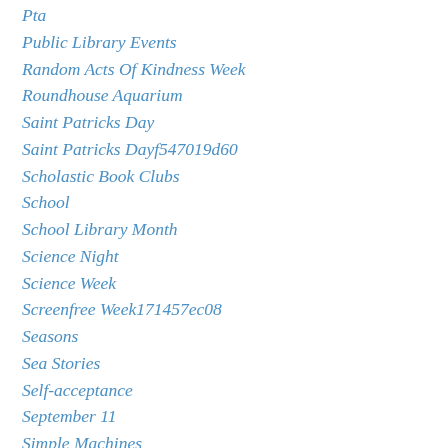Pta
Public Library Events
Random Acts Of Kindness Week
Roundhouse Aquarium
Saint Patricks Day
Saint Patricks Dayf547019d60
Scholastic Book Clubs
School
School Library Month
Science Night
Science Week
Screenfree Week171457ec08
Seasons
Sea Stories
Self-acceptance
September 11
Simple Machines
Snow
Solar System
Summer Reading